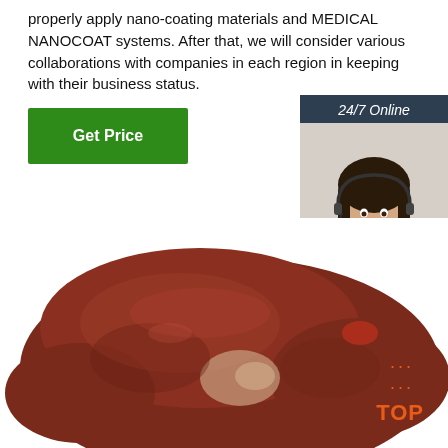properly apply nano-coating materials and MEDICAL NANOCOAT systems. After that, we will consider various collaborations with companies in each region in keeping with their business status.
[Figure (other): Green 'Get Price' button]
[Figure (photo): Customer service representative with headset smiling, with '24/7 Online' header, 'Click here for free chat!' text, and orange 'QUOTATION' button on a dark teal sidebar]
[Figure (photo): Raw animal liver (dark reddish-brown organ) on white background]
[Figure (other): Orange 'TOP' button with decorative dots in bottom right corner]